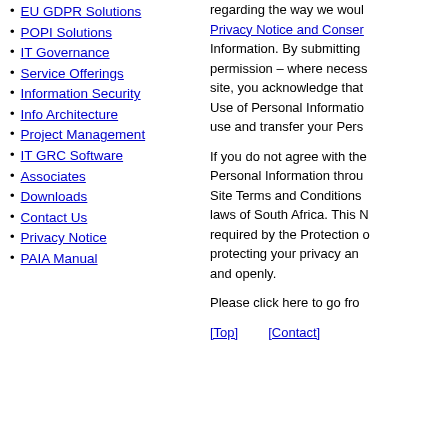EU GDPR Solutions
POPI Solutions
IT Governance
Service Offerings
Information Security
Info Architecture
Project Management
IT GRC Software
Associates
Downloads
Contact Us
Privacy Notice
PAIA Manual
regarding the way we woul... Privacy Notice and Conser... Information. By submitting... permission – where necess... site, you acknowledge that... Use of Personal Informatio... use and transfer your Pers...
If you do not agree with the... Personal Information throu... Site Terms and Conditions... laws of South Africa. This M... required by the Protection o... protecting your privacy an... and openly.
Please click here to go fro...
[Top]    [Contact]